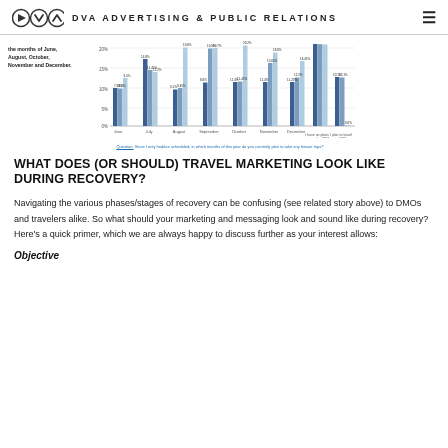DVA ADVERTISING & PUBLIC RELATIONS
the months of June, August, October, November and December.
[Figure (grouped-bar-chart): Leisure travel plans by month]
Question: Since I only had/am scheduled, in which months of this year do you currently plan to take any leisure trips?
WHAT DOES (OR SHOULD) TRAVEL MARKETING LOOK LIKE DURING RECOVERY?
Navigating the various phases/stages of recovery can be confusing (see related story above) to DMOs and travelers alike. So what should your marketing and messaging look and sound like during recovery? Here's a quick primer, which we are always happy to discuss further as your interest allows:
Objective